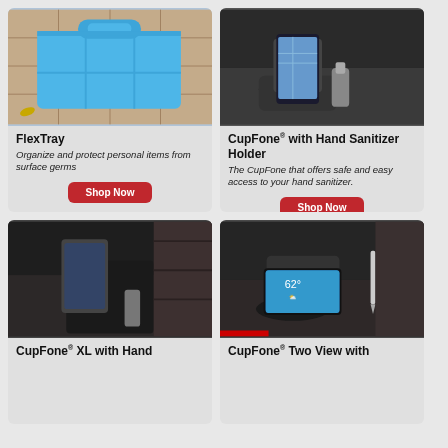[Figure (photo): FlexTray product photo — blue tray organizer on tiled floor]
FlexTray
Organize and protect personal items from surface germs
Shop Now
[Figure (photo): CupFone with Hand Sanitizer Holder in car cup holder with phone showing map]
CupFone® with Hand Sanitizer Holder
The CupFone that offers safe and easy access to your hand sanitizer.
Shop Now
[Figure (photo): CupFone XL with Hand Sanitizer Holder in car center console]
CupFone® XL with Hand
[Figure (photo): CupFone Two View with phone showing weather app in car cup holder]
CupFone® Two View with